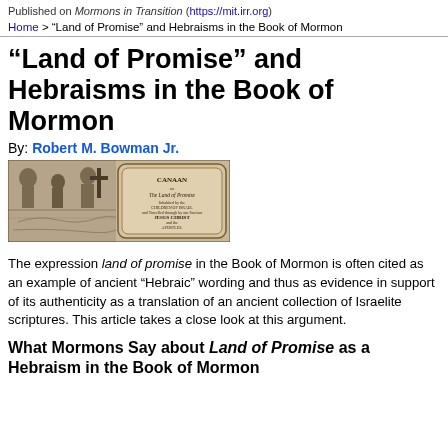Published on Mormons in Transition (https://mit.irr.org)
Home > “Land of Promise” and Hebraisms in the Book of Mormon
“Land of Promise” and Hebraisms in the Book of Mormon
By: Robert M. Bowman Jr.
[Figure (illustration): Historical engraved map titled 'Canaan or The Land of Promise Inhabited by the Children of Israel and Travelled through by our Saviour Jesus Christ and the Apostles']
The expression land of promise in the Book of Mormon is often cited as an example of ancient “Hebraic” wording and thus as evidence in support of its authenticity as a translation of an ancient collection of Israelite scriptures. This article takes a close look at this argument.
What Mormons Say about Land of Promise as a Hebraism in the Book of Mormon